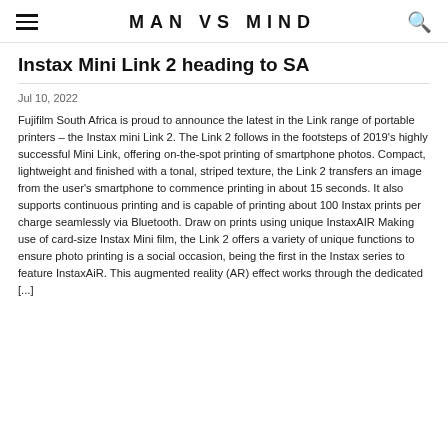MAN VS MIND
Instax Mini Link 2 heading to SA
Jul 10, 2022
Fujifilm South Africa is proud to announce the latest in the Link range of portable printers – the Instax mini Link 2. The Link 2 follows in the footsteps of 2019's highly successful Mini Link, offering on-the-spot printing of smartphone photos. Compact, lightweight and finished with a tonal, striped texture, the Link 2 transfers an image from the user's smartphone to commence printing in about 15 seconds. It also supports continuous printing and is capable of printing about 100 Instax prints per charge seamlessly via Bluetooth. Draw on prints using unique InstaxAIR Making use of card-size Instax Mini film, the Link 2 offers a variety of unique functions to ensure photo printing is a social occasion, being the first in the Instax series to feature InstaxAiR. This augmented reality (AR) effect works through the dedicated [...]